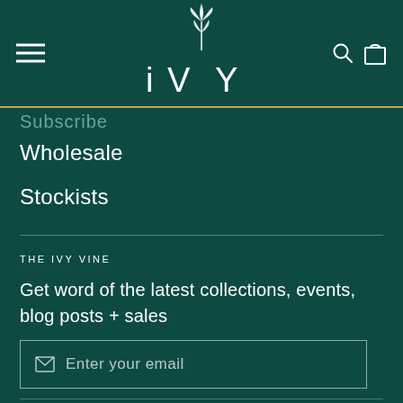[Figure (logo): IVY brand logo — stylized plant/leaf icon above the text 'iVY' in white on dark teal background, with hamburger menu icon on left and search/cart icons on right]
Subscribe
Wholesale
Stockists
THE IVY VINE
Get word of the latest collections, events, blog posts + sales
Enter your email